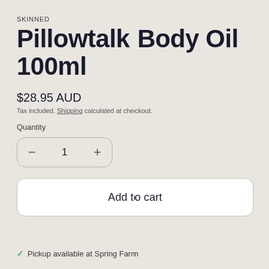SKINNED
Pillowtalk Body Oil 100ml
$28.95 AUD
Tax included. Shipping calculated at checkout.
Quantity
− 1 +
Add to cart
✓ Pickup available at Spring Farm